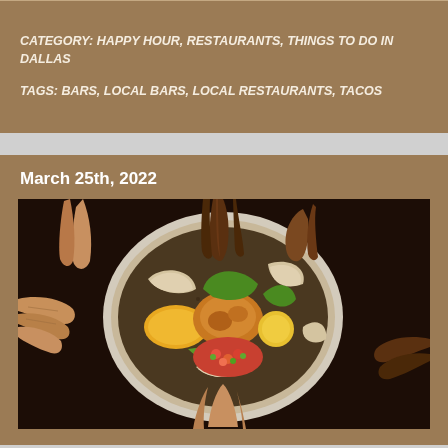CATEGORY: HAPPY HOUR, RESTAURANTS, THINGS TO DO IN DALLAS
TAGS: BARS, LOCAL BARS, LOCAL RESTAURANTS, TACOS
March 25th, 2022
[Figure (photo): Overhead view of people sharing an Ethiopian-style communal meal with injera bread, chicken, vegetables, and salsa on a large round platter, with multiple hands reaching in from all sides]